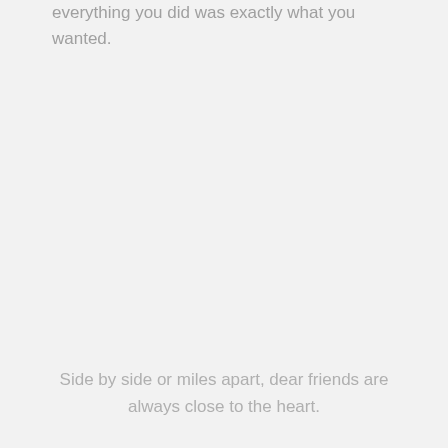everything you did was exactly what you wanted.
Side by side or miles apart, dear friends are always close to the heart.